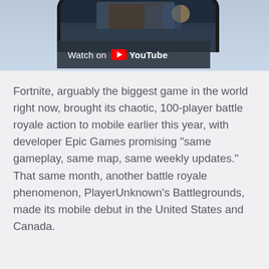[Figure (screenshot): Top portion of a smartphone screen showing a game character, with a dark 'Watch on YouTube' banner overlay at the bottom of the phone frame, against a light blue-grey background.]
Fortnite, arguably the biggest game in the world right now, brought its chaotic, 100-player battle royale action to mobile earlier this year, with developer Epic Games promising “same gameplay, same map, same weekly updates.” That same month, another battle royale phenomenon, PlayerUnknown’s Battlegrounds, made its mobile debut in the United States and Canada.